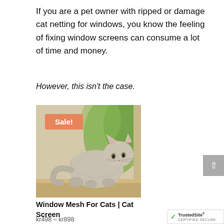If you are a pet owner with ripped or damage cat netting for windows, you know the feeling of fixing window screens can consume a lot of time and money.
However, this isn't the case.
[Figure (photo): A fluffy cat standing on a window sill looking outside through a window screen, with a Sale! badge overlay in orange]
Window Mesh For Cats | Cat Screen
kr498 – kr898
[Figure (logo): TrustedSite CERTIFIED SECURE badge]